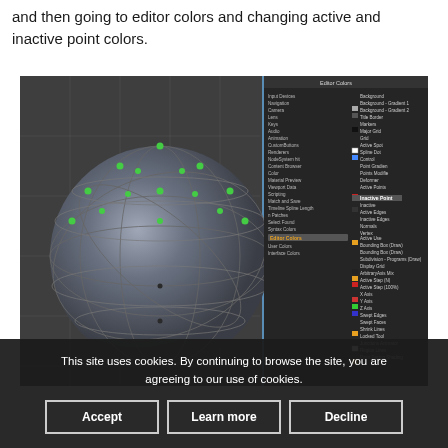and then going to editor colors and changing active and inactive point colors.
[Figure (screenshot): Screenshot of a 3D modeling application showing a sphere with green control points visible, alongside a panel menu showing Editor Colors settings with various color swatches.]
This site uses cookies. By continuing to browse the site, you are agreeing to our use of cookies.
Accept    Learn more    Decline
Cheers,